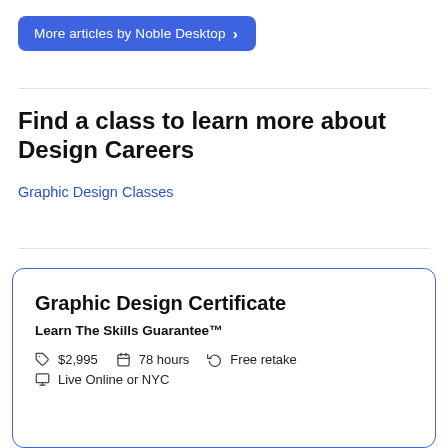More articles by Noble Desktop >
Find a class to learn more about Design Careers
Graphic Design Classes
Graphic Design Certificate
Learn The Skills Guarantee™
$2,995  78 hours  Free retake  Live Online or NYC